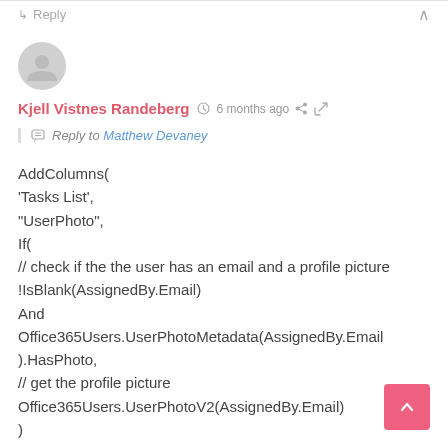↳ Reply  ∧
[Figure (illustration): Circular avatar placeholder icon with gray background and person silhouette]
Kjell Vistnes Randeberg  🕐 6 months ago  < 🔗
💬 Reply to Matthew Devaney
AddColumns(
'Tasks List',
"UserPhoto",
If(
// check if the the user has an email and a profile picture
!IsBlank(AssignedBy.Email)
And
Office365Users.UserPhotoMetadata(AssignedBy.Email).HasPhoto,
// get the profile picture
Office365Users.UserPhotoV2(AssignedBy.Email)
)